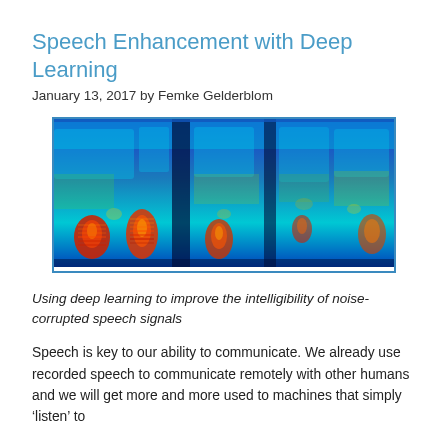Speech Enhancement with Deep Learning
January 13, 2017 by Femke Gelderblom
[Figure (other): A spectrogram visualization showing frequency content of speech signals over time, with a heat-map color scale from blue (low energy) through cyan, green, yellow to red/orange (high energy), showing multiple speech segments separated by quieter regions.]
Using deep learning to improve the intelligibility of noise-corrupted speech signals
Speech is key to our ability to communicate. We already use recorded speech to communicate remotely with other humans and we will get more and more used to machines that simply ‘listen’ to